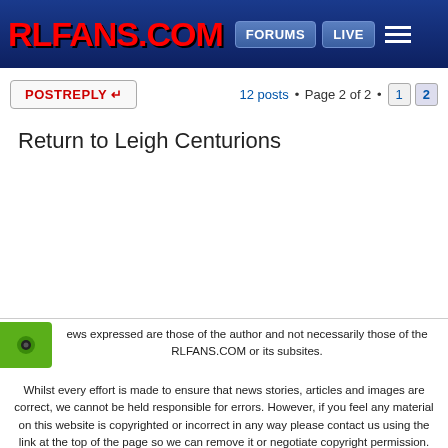RLFANS.COM — FORUMS | LIVE
POSTREPLY ↵   12 posts • Page 2 of 2 • 1 2
Return to Leigh Centurions
ews expressed are those of the author and not necessarily those of the RLFANS.COM or its subsites.
Whilst every effort is made to ensure that news stories, articles and images are correct, we cannot be held responsible for errors. However, if you feel any material on this website is copyrighted or incorrect in any way please contact us using the link at the top of the page so we can remove it or negotiate copyright permission.